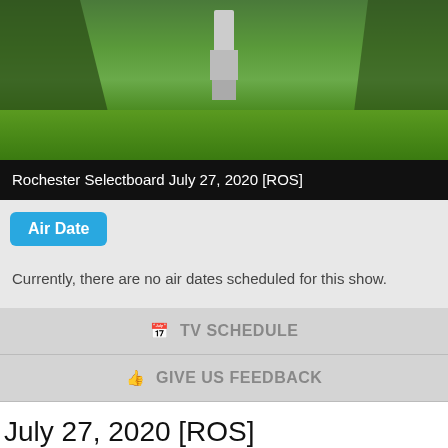[Figure (photo): Photo of a park with trees and a monument/statue on a pedestal, green lawn, daytime.]
Rochester Selectboard July 27, 2020 [ROS]
Air Date
Currently, there are no air dates scheduled for this show.
TV SCHEDULE
GIVE US FEEDBACK
July 27, 2020 [ROS]
PRODUCTION DATE: July 27, 2020